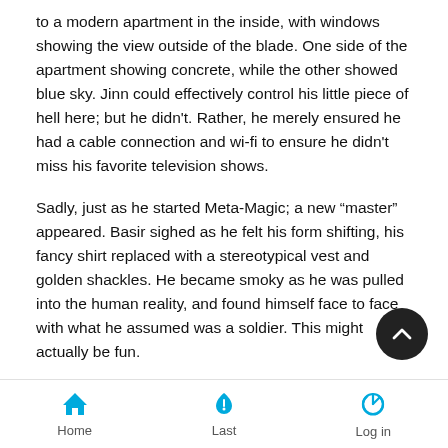to a modern apartment in the inside, with windows showing the view outside of the blade. One side of the apartment showing concrete, while the other showed blue sky. Jinn could effectively control his little piece of hell here; but he didn't. Rather, he merely ensured he had a cable connection and wi-fi to ensure he didn't miss his favorite television shows.
Sadly, just as he started Meta-Magic; a new “master” appeared. Basir sighed as he felt his form shifting, his fancy shirt replaced with a stereotypical vest and golden shackles. He became smoky as he was pulled into the human reality, and found himself face to face with what he assumed was a soldier. This might actually be fun.
Basir put on his absolute best fake smile, but failed to hide his annoyance. “Greetings,wielder! I am the genie of the blade you hold in your hand. What is it that you wish?”
Home   Last   Log in